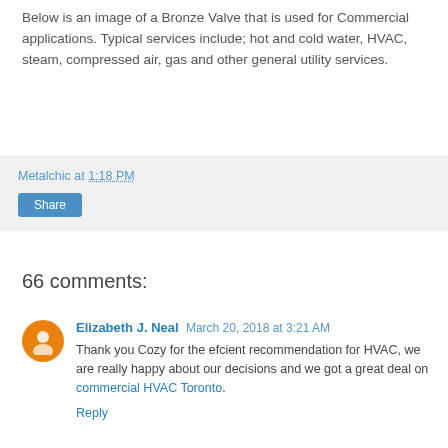Below is an image of a Bronze Valve that is used for Commercial applications. Typical services include; hot and cold water, HVAC, steam, compressed air, gas and other general utility services.
Metalchic at 1:18 PM
Share
66 comments:
Elizabeth J. Neal March 20, 2018 at 3:21 AM
Thank you Cozy for the efcient recommendation for HVAC, we are really happy about our decisions and we got a great deal on commercial HVAC Toronto.
Reply